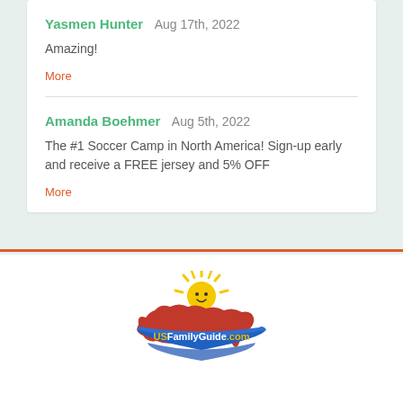Yasmen Hunter  Aug 17th, 2022
Amazing!
More
Amanda Boehmer  Aug 5th, 2022
The #1 Soccer Camp in North America! Sign-up early and receive a FREE jersey and 5% OFF
More
[Figure (logo): USFamilyGuide.com logo with a smiling sun above a red United States map shape with a blue banner reading 'USFamilyGuide.com']